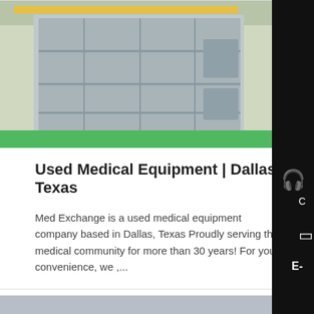[Figure (photo): Industrial metal shelving units or cooling equipment in a warehouse/factory setting, viewed from the side, with green floor visible.]
Used Medical Equipment | Dallas, Texas
Med Exchange is a used medical equipment company based in Dallas, Texas Proudly serving the medical community for more than 30 years! For your convenience, we ,...
[Figure (photo): Large green industrial machinery (turbines or pumps) lined up on a factory floor.]
Medical Supply SuperStore - Medical equipments
Fastest Delivery to Your Door Deep Discounts - Top Brands...